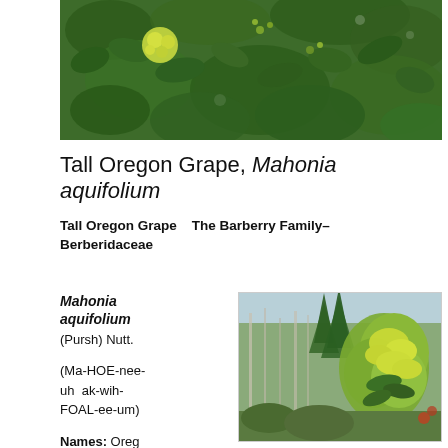[Figure (photo): Close-up photo of Mahonia aquifolium (Tall Oregon Grape) showing glossy holly-like leaves and yellow-green flower clusters against a green background]
Tall Oregon Grape, Mahonia aquifolium
Tall Oregon Grape    The Barberry Family–Berberidaceae
Mahonia aquifolium (Pursh) Nutt.
(Ma-HOE-nee-uh  ak-wih-FOAL-ee-um)
Names: Oreg
[Figure (photo): Photo of Mahonia aquifolium shrub showing yellow flowering branches in a forest/woodland setting with conifers in background]